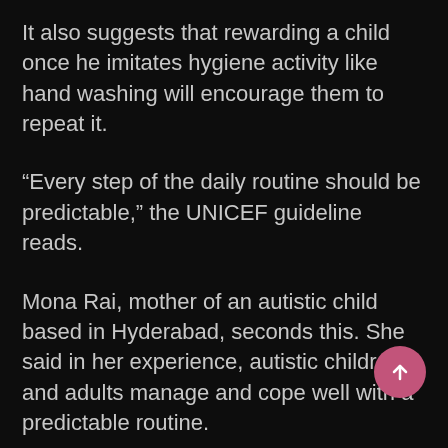It also suggests that rewarding a child once he imitates hygiene activity like hand washing will encourage them to repeat it.
“Every step of the daily routine should be predictable,” the UNICEF guideline reads.
Mona Rai, mother of an autistic child based in Hyderabad, seconds this. She said in her experience, autistic children and adults manage and cope well with a predictable routine.
“During lockdown, I ensured that my son’s breakfast and bath time was fixed and he